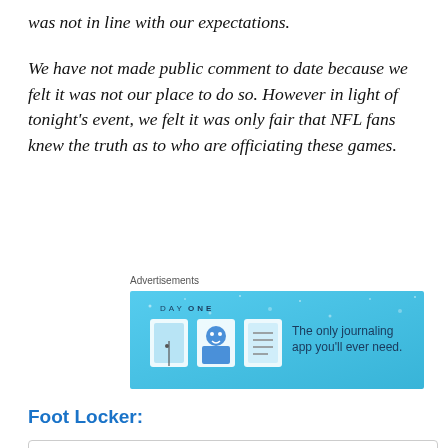was not in line with our expectations.
We have not made public comment to date because we felt it was not our place to do so. However in light of tonight's event, we felt it was only fair that NFL fans knew the truth as to who are officiating these games.
Advertisements
[Figure (other): DAY ONE app advertisement banner - blue background with illustrated icons and text 'The only journaling app you'll ever need.']
Foot Locker:
Privacy & Cookies: This site uses cookies. By continuing to use this website, you agree to their use.
To find out more, including how to control cookies, see here: Cookie Policy
Close and accept